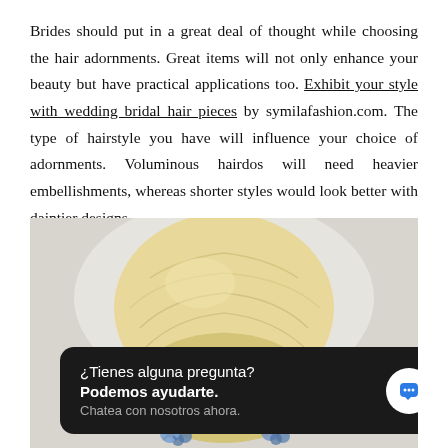Brides should put in a great deal of thought while choosing the hair adornments. Great items will not only enhance your beauty but have practical applications too. Exhibit your style with wedding bridal hair pieces by symilafashion.com. The type of hairstyle you have will influence your choice of adornments. Voluminous hairdos will need heavier embellishments, whereas shorter styles would look better with daintier designs.
[Figure (photo): Back view of a blonde updo hairstyle on a mannequin head, with decorative blue floral hair pieces visible at the bottom. A dark chat widget overlay is visible at the bottom of the image with Spanish text.]